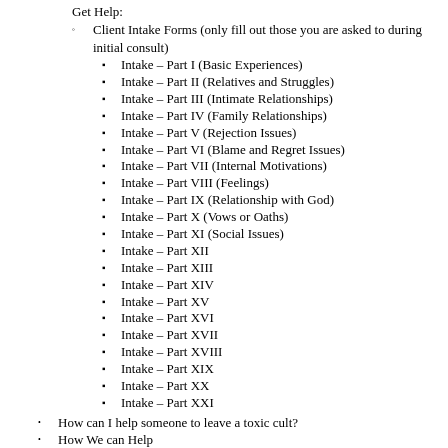Get Help:
Client Intake Forms (only fill out those you are asked to during initial consult)
Intake – Part I (Basic Experiences)
Intake – Part II (Relatives and Struggles)
Intake – Part III (Intimate Relationships)
Intake – Part IV (Family Relationships)
Intake – Part V (Rejection Issues)
Intake – Part VI (Blame and Regret Issues)
Intake – Part VII (Internal Motivations)
Intake – Part VIII (Feelings)
Intake – Part IX (Relationship with God)
Intake – Part X (Vows or Oaths)
Intake – Part XI (Social Issues)
Intake – Part XII
Intake – Part XIII
Intake – Part XIV
Intake – Part XV
Intake – Part XVI
Intake – Part XVII
Intake – Part XVIII
Intake – Part XIX
Intake – Part XX
Intake – Part XXI
How can I help someone to leave a toxic cult?
How We can Help
Learn Stuff! (under construction)